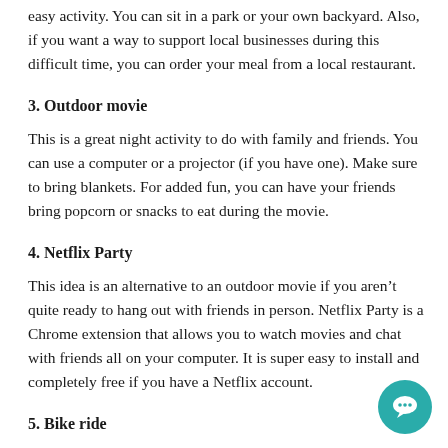easy activity. You can sit in a park or your own backyard. Also, if you want a way to support local businesses during this difficult time, you can order your meal from a local restaurant.
3. Outdoor movie
This is a great night activity to do with family and friends. You can use a computer or a projector (if you have one). Make sure to bring blankets. For added fun, you can have your friends bring popcorn or snacks to eat during the movie.
4. Netflix Party
This idea is an alternative to an outdoor movie if you aren’t quite ready to hang out with friends in person. Netflix Party is a Chrome extension that allows you to watch movies and chat with friends all on your computer. It is super easy to install and completely free if you have a Netflix account.
5. Bike ride
Biking with friends has become a popular activity for Pelham kids during Covid. It is fun and a way to get some exercise and fresh air. If you get